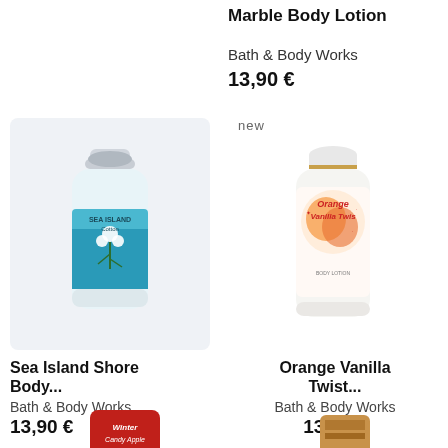Marble Body Lotion
Bath & Body Works
13,90 €
[Figure (photo): Sea Island Cotton body lotion bottle from Bath & Body Works, white bottle with blue/teal label featuring cotton plant imagery, on light gray background]
[Figure (photo): Orange Vanilla Twist body lotion bottle from Bath & Body Works, white bottle with colorful orange and cream label]
Sea Island Shore Body...
Bath & Body Works
13,90 €
Orange Vanilla Twist...
Bath & Body Works
13,90 €
[Figure (photo): Partial view of Winter Candy Apple product, red tube/container, partially cropped at bottom of page]
[Figure (photo): Partial view of a gold/brown Bath & Body Works product, partially cropped at bottom of page]